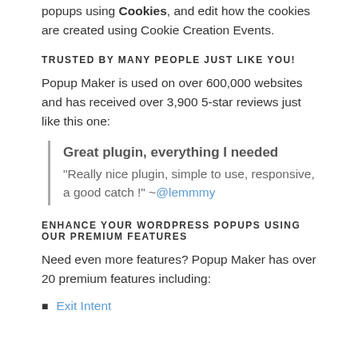popups using Cookies, and edit how the cookies are created using Cookie Creation Events.
TRUSTED BY MANY PEOPLE JUST LIKE YOU!
Popup Maker is used on over 600,000 websites and has received over 3,900 5-star reviews just like this one:
Great plugin, everything I needed
"Really nice plugin, simple to use, responsive, a good catch !" ~@lemmmy
ENHANCE YOUR WORDPRESS POPUPS USING OUR PREMIUM FEATURES
Need even more features? Popup Maker has over 20 premium features including:
Exit Intent